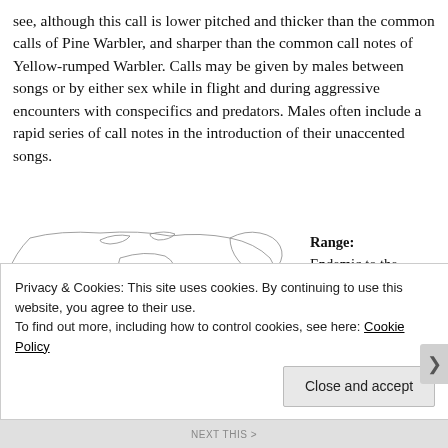see, although this call is lower pitched and thicker than the common calls of Pine Warbler, and sharper than the common call notes of Yellow-rumped Warbler. Calls may be given by males between songs or by either sex while in flight and during aggressive encounters with conspecifics and predators. Males often include a rapid series of call notes in the introduction of their unaccented songs.
[Figure (map): Outline map of North America showing the range of a bird species, with teal/blue shading indicating occurrences primarily along the southern and eastern coastal areas of Canada and northeastern US.]
Range: Endemic to the Americas (Figure 2), however
Privacy & Cookies: This site uses cookies. By continuing to use this website, you agree to their use. To find out more, including how to control cookies, see here: Cookie Policy
Close and accept